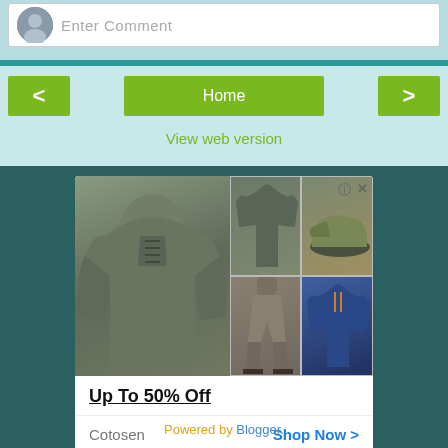Enter Comment
Home
View web version
[Figure (photo): Advertisement showing men's outdoor/tactical clothing: a grey hoodie on the left, a grey t-shirt, cargo pants and shoes, and a blue henley shirt on the right. Info and close icons top right. Ad text: 'Up To 50% Off', brand: Cotosen, 'Shop Now >']
Powered by Blogger.